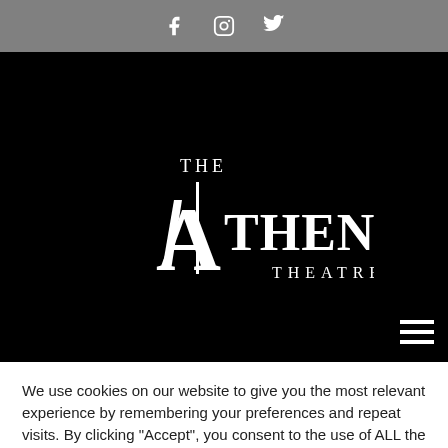Social icons: Facebook, Instagram, Twitter
[Figure (logo): The Athenaeum Theatre logo in white text on black background]
We use cookies on our website to give you the most relevant experience by remembering your preferences and repeat visits. By clicking "Accept", you consent to the use of ALL the cookies.
Cookie settings | ACCEPT